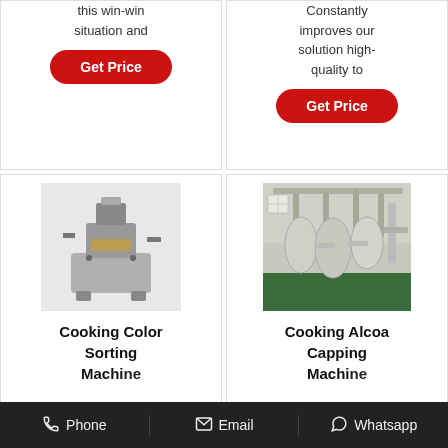this win-win situation and
Get Price
Constantly improves our solution high-quality to
Get Price
[Figure (photo): Industrial oil press machine - Cooking Color Sorting Machine]
Cooking Color Sorting Machine
[Figure (photo): Industrial facility with pipes and tanks - Cooking Alcoa Capping Machine]
Cooking Alcoa Capping Machine
Phone   Email   Whatsapp